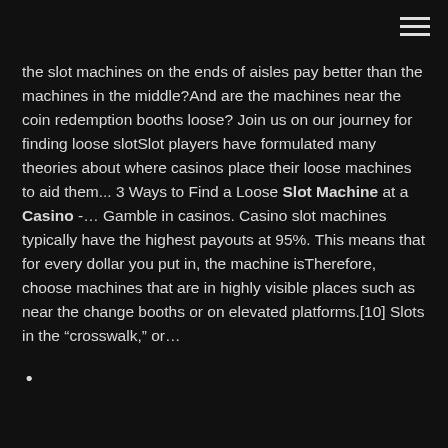the slot machines on the ends of aisles pay better than the machines in the middle?And are the machines near the coin redemption booths loose? Join us on our journey for finding loose slotSlot players have formulated many theories about where casinos place their loose machines to aid them... 3 Ways to Find a Loose Slot Machine at a Casino -… Gamble in casinos. Casino slot machines typically have the highest payouts at 95%. This means that for every dollar you put in, the machine isTherefore, choose machines that are in highly visible places such as near the change booths or on elevated platforms.[10] Slots in the “crosswalk,” or...